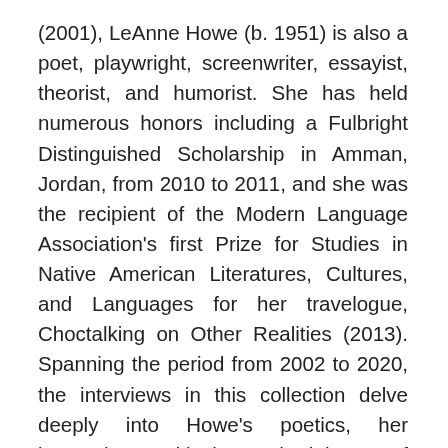(2001), LeAnne Howe (b. 1951) is also a poet, playwright, screenwriter, essayist, theorist, and humorist. She has held numerous honors including a Fulbright Distinguished Scholarship in Amman, Jordan, from 2010 to 2011, and she was the recipient of the Modern Language Association's first Prize for Studies in Native American Literatures, Cultures, and Languages for her travelogue, Choctalking on Other Realities (2013). Spanning the period from 2002 to 2020, the interviews in this collection delve deeply into Howe's poetics, her innovative critical methodology of tribalography, her personal history, and her position on subjects ranging from the Lone Ranger to Native American mascots. Two previously unpublished interviews, "'An American in New York': LeAnne Howe" (2019) and "Genre-Sliding on Stage with LeAnne Howe" (2020),